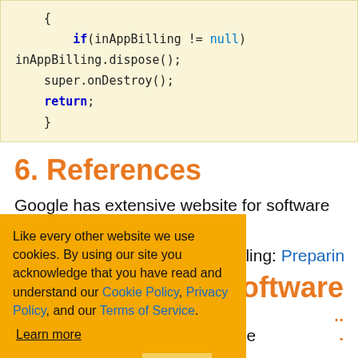{
    if(inAppBilling != null)
inAppBilling.dispose();
    super.onDestroy();
    return;
    }
6. References
Google has extensive website for software developers.
illing: Preparing
oftware
Like every other website we use cookies. By using our site you acknowledge that you have read and understand our Cookie Policy, Privacy Policy, and our Terms of Service. Learn more
Ask me later   Decline   Allow cookies
mers is a free
App available on Google Play.